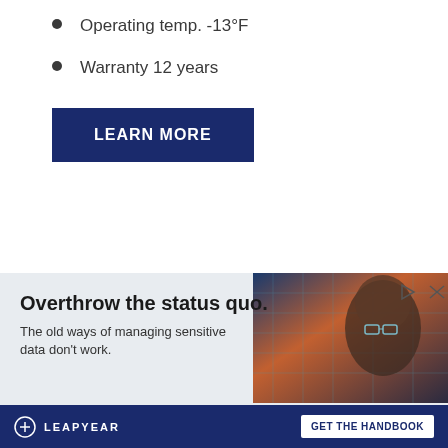Operating temp. -13°F
Warranty 12 years
LEARN MORE
[Figure (infographic): Advertisement banner for Leapyear: 'Overthrow the status quo. The old ways of managing sensitive data don't work.' with a GET THE HANDBOOK button and an image of a futuristic AI face.]